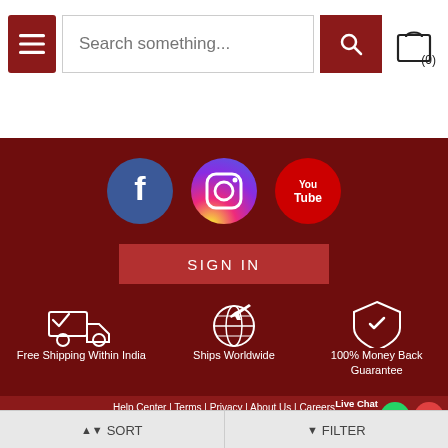[Figure (screenshot): Website header with hamburger menu, search bar, search button, and cart icon showing (0)]
Floral Lehenga | Kaftan Dress | Ethnic Wear
[Figure (infographic): Footer with Facebook, Instagram, YouTube social icons, SIGN IN button, three feature icons (Free Shipping Within India, Ships Worldwide, 100% Money Back Guarantee)]
Help Center | Terms | Privacy | About Us | Careers  Email : mcare@mirraw.com  Phone No. : +1-949-464-5941 (Mon-Sat)
▲▼ SORT     ▼ FILTER